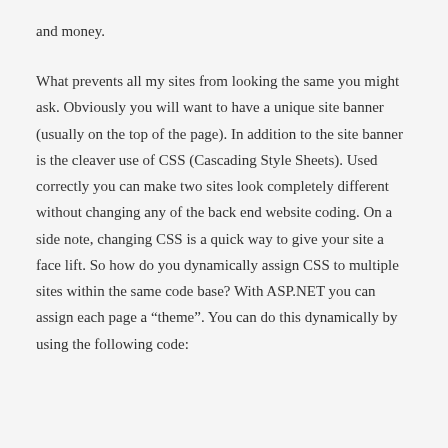and money.
What prevents all my sites from looking the same you might ask. Obviously you will want to have a unique site banner (usually on the top of the page). In addition to the site banner is the cleaver use of CSS (Cascading Style Sheets). Used correctly you can make two sites look completely different without changing any of the back end website coding. On a side note, changing CSS is a quick way to give your site a face lift. So how do you dynamically assign CSS to multiple sites within the same code base? With ASP.NET you can assign each page a “theme”. You can do this dynamically by using the following code: